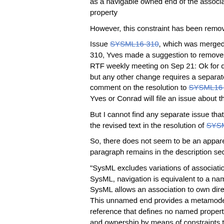as a navigable owned end of the association. For the superclass, the value of the "name" property
However, this constraint has been removed
Issue SYSML16-310, which was merged into 310, Yves made a suggestion to remove the RTF weekly meeting on Sep 21: Ok for delet but any other change requires a separate iss comment on the resolution to SYSML16-295 Yves or Conrad will file an issue about that."
But I cannot find any separate issue that was the revised text in the resolution of SYSML1
So, there does not seem to be an apparent i paragraph remains in the description section
"SysML excludes variations of associations i SysML, navigation is equivalent to a named SysML allows an association to own directly This unnamed end provides a metamodel el reference that defines no named property fo and ownership by means of constraints that
This is text certainly no longer true without